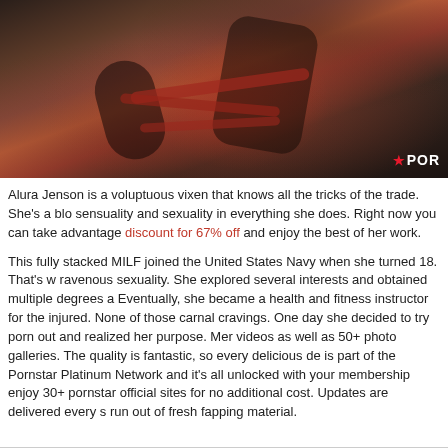[Figure (photo): Dark photograph showing two figures, one in black latex outfit, with red rope bondage elements, in a dark industrial setting. Watermark showing star icon and 'POR' text visible in bottom right corner.]
Alura Jenson is a voluptuous vixen that knows all the tricks of the trade. She's a blo sensuality and sexuality in everything she does. Right now you can take advantage discount for 67% off and enjoy the best of her work.
This fully stacked MILF joined the United States Navy when she turned 18. That's w ravenous sexuality. She explored several interests and obtained multiple degrees a Eventually, she became a health and fitness instructor for the injured. None of those carnal cravings. One day she decided to try porn out and realized her purpose. Mer videos as well as 50+ photo galleries. The quality is fantastic, so every delicious de is part of the Pornstar Platinum Network and it's all unlocked with your membership enjoy 30+ pornstar official sites for no additional cost. Updates are delivered every s run out of fresh fapping material.